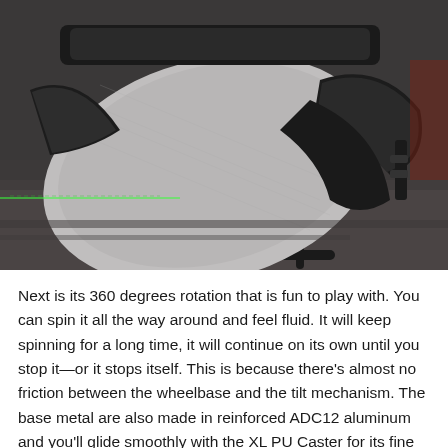[Figure (photo): Close-up photo of a grey fabric office/gaming chair seat viewed from above at an angle, showing the cushion, black armrests, and dark base. A faint green laser/light line is visible on the floor in the background.]
Next is its 360 degrees rotation that is fun to play with. You can spin it all the way around and feel fluid. It will keep spinning for a long time, it will continue on its own until you stop it—or it stops itself. This is because there's almost no friction between the wheelbase and the tilt mechanism. The base metal are also made in reinforced ADC12 aluminum and you'll glide smoothly with the XL PU Caster for its fine wheels.